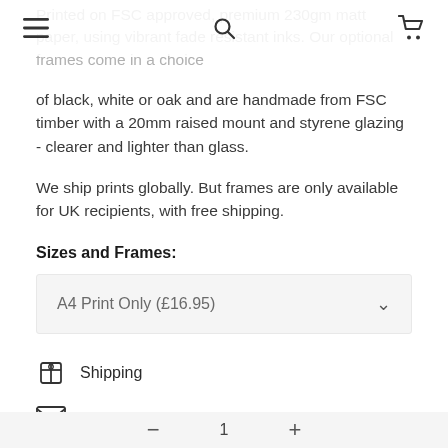[hamburger menu] [search] [cart]
Printed on FSC approved, premium 230gm matt paper, using vibrant fade resistant inks. Our optional frames come in a choice of black, white or oak and are handmade from FSC timber with a 20mm raised mount and styrene glazing - clearer and lighter than glass.
We ship prints globally. But frames are only available for UK recipients, with free shipping.
Sizes and Frames:
A4 Print Only (£16.95)
Shipping
Ask us about this product
1